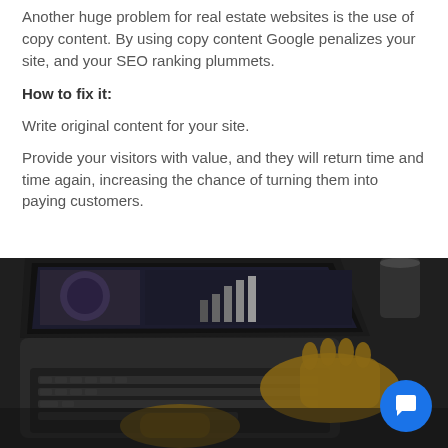Another huge problem for real estate websites is the use of copy content. By using copy content Google penalizes your site, and your SEO ranking plummets.
How to fix it:
Write original content for your site.
Provide your visitors with value, and they will return time and time again, increasing the chance of turning them into paying customers.
[Figure (photo): Person typing on a laptop keyboard with a dark website/analytics interface visible on the screen. Close-up shot showing hands on keyboard against a dark background.]